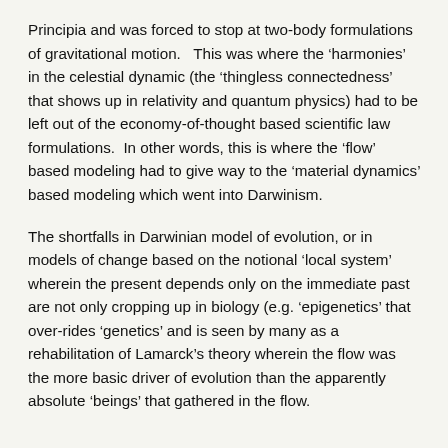Principia and was forced to stop at two-body formulations of gravitational motion.   This was where the ‘harmonies’ in the celestial dynamic (the ‘thingless connectedness’ that shows up in relativity and quantum physics) had to be left out of the economy-of-thought based scientific law formulations.  In other words, this is where the ‘flow’ based modeling had to give way to the ‘material dynamics’ based modeling which went into Darwinism.
The shortfalls in Darwinian model of evolution, or in models of change based on the notional ‘local system’ wherein the present depends only on the immediate past are not only cropping up in biology (e.g. ‘epigenetics’ that over-rides ‘genetics’ and is seen by many as a rehabilitation of Lamarck’s theory wherein the flow was the more basic driver of evolution than the apparently absolute ‘beings’ that gathered in the flow.